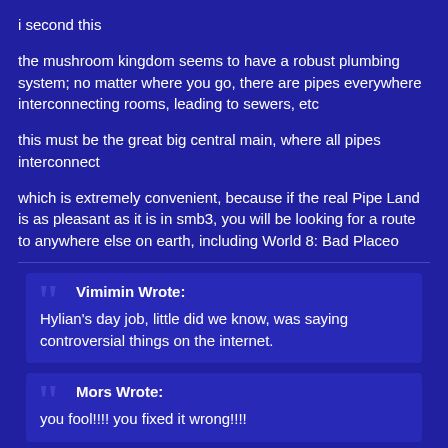i second this
the mushroom kingdom seems to have a robust plumbing system; no matter where you go, there are pipes everywhere interconnecting rooms, leading to sewers, etc
this must be the great big central main, where all pipes interconnect
which is extremely convenient, because if the real Pipe Land is as pleasant as it is in smb3, you will be looking for a route to anywhere else on earth, including World 8: Bad Placeo
Vimimin Wrote:
Hylian's day job, little did we know, was saying controversial things on the internet.
Mors Wrote:
you fool!!!! you fixed it wrong!!!!